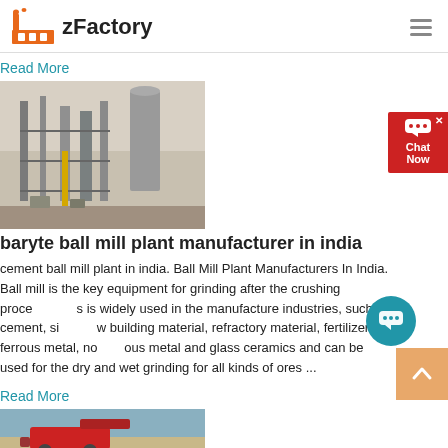zFactory
Read More
[Figure (photo): Industrial plant with tall structures, scaffolding, silos and pipes - a ball mill or cement plant facility]
baryte ball mill plant manufacturer in india
cement ball mill plant in india. Ball Mill Plant Manufacturers In India. Ball mill is the key equipment for grinding after the crushing process. It is widely used in the manufacture industries, such as cement, silicate, building material, refractory material, fertilizer, ferrous metal, nonferrous metal and glass ceramics and can be used for the dry and wet grinding for all kinds of ores ...
Read More
[Figure (photo): Red construction or mining machinery on sandy/rocky ground]